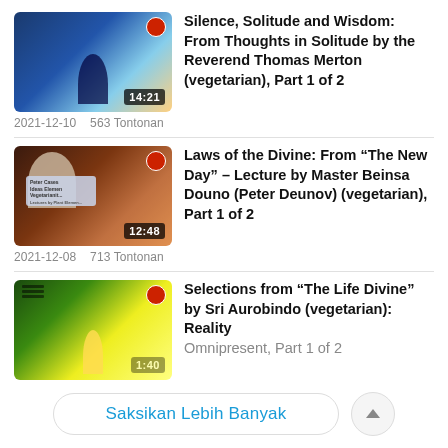[Figure (screenshot): Thumbnail for video 1: silhouette of meditating person against blue sky, duration badge 14:21]
Silence, Solitude and Wisdom: From Thoughts in Solitude by the Reverend Thomas Merton (vegetarian), Part 1 of 2
2021-12-10    563 Tontonan
[Figure (screenshot): Thumbnail for video 2: elderly bearded man (Master Beinsa Douno) with warm gradient background, duration badge 12:48]
Laws of the Divine: From “The New Day” – Lecture by Master Beinsa Douno (Peter Deunov) (vegetarian), Part 1 of 2
2021-12-08    713 Tontonan
[Figure (screenshot): Thumbnail for video 3: glowing silhouette against bright green/yellow light, partial duration badge]
Selections from “The Life Divine” by Sri Aurobindo (vegetarian): Reality Omnipresent, Part 1 of 2
Saksikan Lebih Banyak